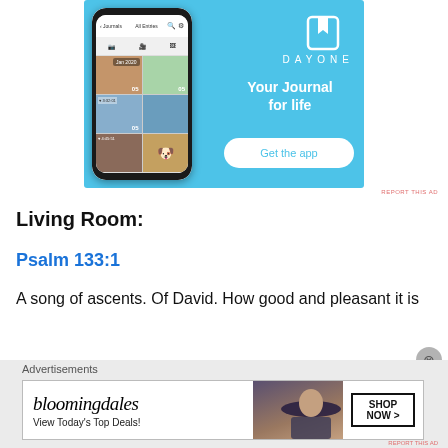[Figure (screenshot): DayOne app advertisement with phone mockup on blue background. Shows 'DAYONE' wordmark, 'Your Journal for life' tagline, and 'Get the app' button.]
REPORT THIS AD
Living Room:
Psalm 133:1
A song of ascents. Of David. How good and pleasant it is
Advertisements
[Figure (screenshot): Bloomingdales advertisement: logo, 'View Today's Top Deals!', woman with hat, SHOP NOW button.]